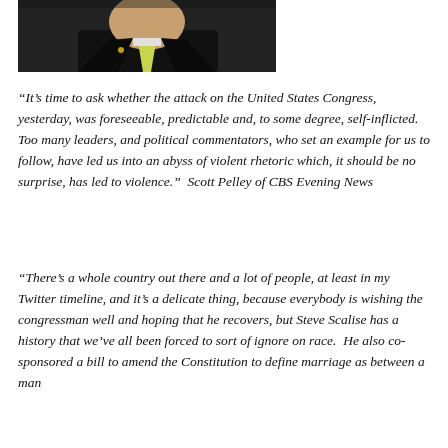[Figure (photo): Photo of a man in a dark suit with a yellow/green patterned tie, cropped to show chest and lower face area]
“It’s time to ask whether the attack on the United States Congress, yesterday, was foreseeable, predictable and, to some degree, self-inflicted.  Too many leaders, and political commentators, who set an example for us to follow, have led us into an abyss of violent rhetoric which, it should be no surprise, has led to violence.”  Scott Pelley of CBS Evening News
“There’s a whole country out there and a lot of people, at least in my Twitter timeline, and it’s a delicate thing, because everybody is wishing the congressman well and hoping that he recovers, but Steve Scalise has a history that we’ve all been forced to sort of ignore on race.  He also co-sponsored a bill to amend the Constitution to define marriage as between a man